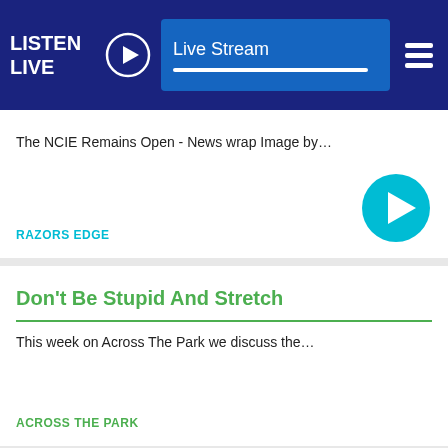LISTEN LIVE  |  Live Stream
The NCIE Remains Open - News wrap Image by…
RAZORS EDGE
Don't Be Stupid And Stretch
This week on Across The Park we discuss the…
ACROSS THE PARK
[Figure (photo): Partial photo of a person's face/head with 'Studios' text visible in background]